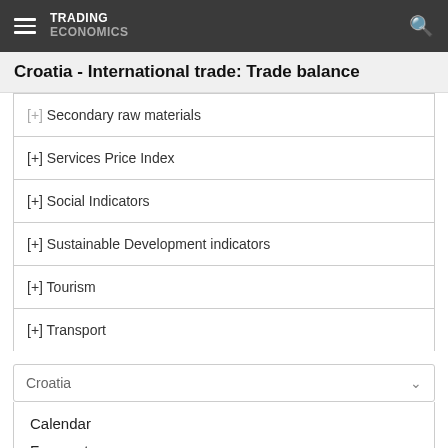TRADING ECONOMICS
Croatia - International trade: Trade balance
[+] Secondary raw materials
[+] Services Price Index
[+] Social Indicators
[+] Sustainable Development indicators
[+] Tourism
[+] Transport
Croatia
Calendar
Forecast